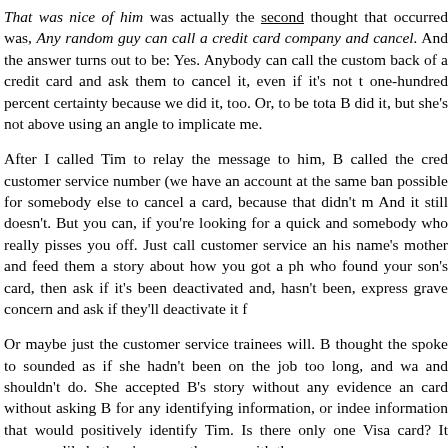That was nice of him was actually the second thought that occurred was, Any random guy can call a credit card company and cancel. And the answer turns out to be: Yes. Anybody can call the customer back of a credit card and ask them to cancel it, even if it's not theirs. I know with one-hundred percent certainty because we did it, too. Or, to be totally honest, B did it, but she's not above using an angle to implicate me.
After I called Tim to relay the message to him, B called the credit card customer service number (we have an account at the same bank) to ask if it's possible for somebody else to cancel a card, because that didn't make sense to her. And it still doesn't. But you can, if you're looking for a quick and dirty way to screw somebody who really pisses you off. Just call customer service and pretend to be his name's mother and feed them a story about how you got a phone call from someone who found your son's card, then ask if it's been deactivated and, if you're told it hasn't been, express grave concern and ask if they'll deactivate it for you.
Or maybe just the customer service trainees will. B thought the trainee she spoke to sounded as if she hadn't been on the job too long, and was doing what she and shouldn't do. She accepted B's story without any evidence and cancelled the card without asking B for any identifying information, or indeed any information that would positively identify Tim. Is there only one person with a Visa card? It seems as likely there's some other guy with the same name